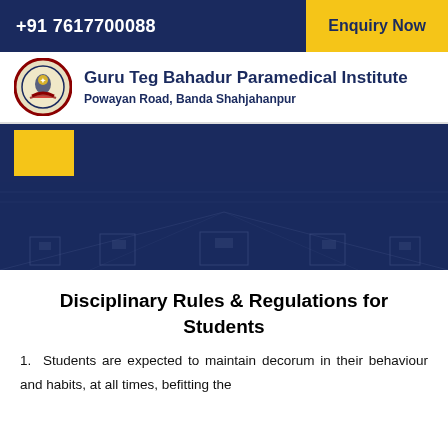+91 7617700088   Enquiry Now
Guru Teg Bahadur Paramedical Institute
Powayan Road, Banda Shahjahanpur
[Figure (photo): Hero image showing an institute corridor/hallway with dark blue overlay and yellow navigation square]
Disciplinary Rules & Regulations for Students
1.  Students are expected to maintain decorum in their behaviour and habits, at all times, befitting the